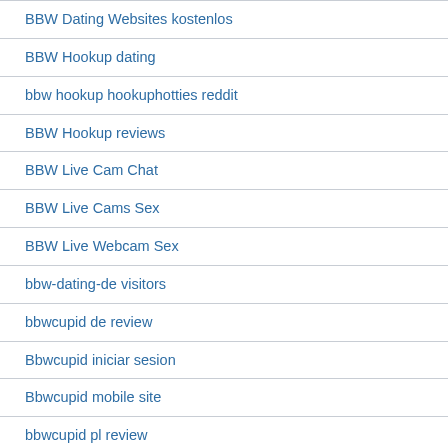BBW Dating Websites kostenlos
BBW Hookup dating
bbw hookup hookuphotties reddit
BBW Hookup reviews
BBW Live Cam Chat
BBW Live Cams Sex
BBW Live Webcam Sex
bbw-dating-de visitors
bbwcupid de review
Bbwcupid iniciar sesion
Bbwcupid mobile site
bbwcupid pl review
Bbwcupid Preis
bbwcupid sito di incontri
Bbwcupid unf?hige